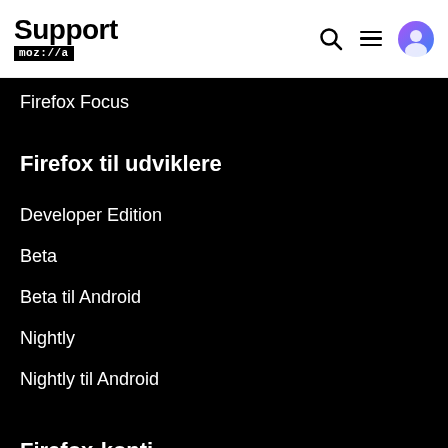Support mozilla
Firefox Focus
Firefox til udviklere
Developer Edition
Beta
Beta til Android
Nightly
Nightly til Android
Firefox-konti